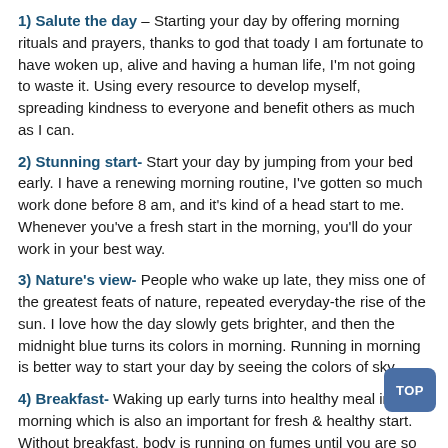1) Salute the day – Starting your day by offering morning rituals and prayers, thanks to god that toady I am fortunate to have woken up, alive and having a human life, I'm not going to waste it. Using every resource to develop myself, spreading kindness to everyone and benefit others as much as I can.
2) Stunning start- Start your day by jumping from your bed early. I have a renewing morning routine, I've gotten so much work done before 8 am, and it's kind of a head start to me. Whenever you've a fresh start in the morning, you'll do your work in your best way.
3) Nature's view- People who wake up late, they miss one of the greatest feats of nature, repeated everyday-the rise of the sun. I love how the day slowly gets brighter, and then the midnight blue turns its colors in morning. Running in morning is better way to start your day by seeing the colors of sky.
4) Breakfast- Waking up early turns into healthy meal in the morning which is also an important for fresh & healthy start. Without breakfast, body is running on fumes until you are so hungry that time that you start to eat an unhealthy thing.